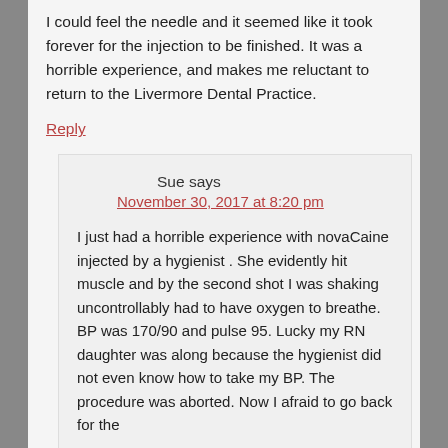I could feel the needle and it seemed like it took forever for the injection to be finished. It was a horrible experience, and makes me reluctant to return to the Livermore Dental Practice.
Reply
Sue says
November 30, 2017 at 8:20 pm
I just had a horrible experience with novaCaine injected by a hygienist . She evidently hit muscle and by the second shot I was shaking uncontrollably had to have oxygen to breathe. BP was 170/90 and pulse 95. Lucky my RN daughter was along because the hygienist did not even know how to take my BP. The procedure was aborted. Now I afraid to go back for the